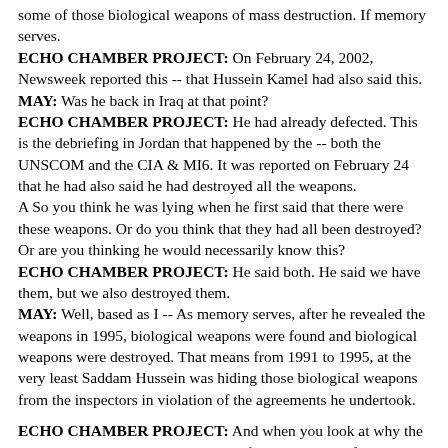some of those biological weapons of mass destruction. If memory serves.
ECHO CHAMBER PROJECT: On February 24, 2002, Newsweek reported this -- that Hussein Kamel had also said this.
MAY: Was he back in Iraq at that point?
ECHO CHAMBER PROJECT: He had already defected. This is the debriefing in Jordan that happened by the -- both the UNSCOM and the CIA & MI6. It was reported on February 24 that he had also said he had destroyed all the weapons.
A So you think he was lying when he first said that there were these weapons. Or do you think that they had all been destroyed? Or are you thinking he would necessarily know this?
ECHO CHAMBER PROJECT: He said both. He said we have them, but we also destroyed them.
MAY: Well, based as I -- As memory serves, after he revealed the weapons in 1995, biological weapons were found and biological weapons were destroyed. That means from 1991 to 1995, at the very least Saddam Hussein was hiding those biological weapons from the inspectors in violation of the agreements he undertook.
ECHO CHAMBER PROJECT: And when you look at why the United States went to war -- Do you feel that -- What from your sense is why we went to war?
MAY: We went to war for a number of reasons. But basically because Saddam Hussein seemed to be a threat to the United States that we didn't want to tolerate -- and in the wake and the